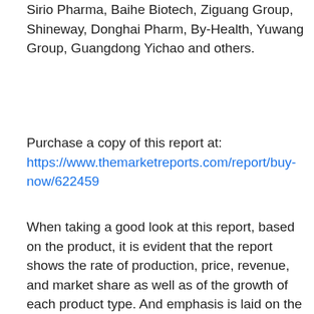Sirio Pharma, Baihe Biotech, Ziguang Group, Shineway, Donghai Pharm, By-Health, Yuwang Group, Guangdong Yichao and others.
Purchase a copy of this report at: https://www.themarketreports.com/report/buy-now/622459
When taking a good look at this report, based on the product, it is evident that the report shows the rate of production, price, revenue, and market share as well as of the growth of each product type. And emphasis is laid on the end users, as well as on the applications of the product. It is one report that hasn't shied away from taking a critical look at the current status and future outlook for the consumption/sales of these products, by the end